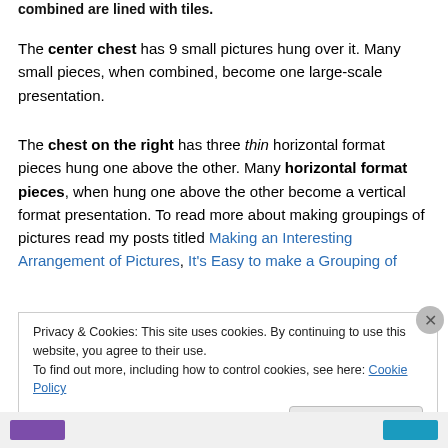combined are lined with tiles.
The center chest has 9 small pictures hung over it. Many small pieces, when combined, become one large-scale presentation.
The chest on the right has three thin horizontal format pieces hung one above the other. Many horizontal format pieces, when hung one above the other become a vertical format presentation. To read more about making groupings of pictures read my posts titled Making an Interesting Arrangement of Pictures, It's Easy to make a Grouping of
Privacy & Cookies: This site uses cookies. By continuing to use this website, you agree to their use.
To find out more, including how to control cookies, see here: Cookie Policy